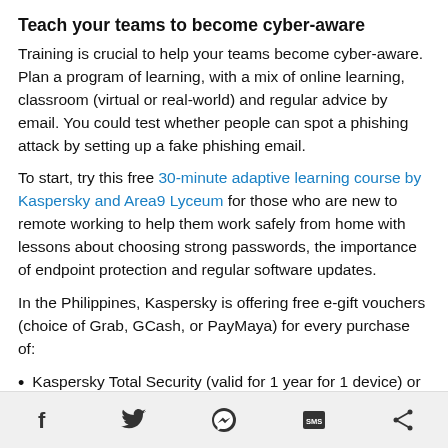Teach your teams to become cyber-aware
Training is crucial to help your teams become cyber-aware. Plan a program of learning, with a mix of online learning, classroom (virtual or real-world) and regular advice by email. You could test whether people can spot a phishing attack by setting up a fake phishing email.
To start, try this free 30-minute adaptive learning course by Kaspersky and Area9 Lyceum for those who are new to remote working to help them work safely from home with lessons about choosing strong passwords, the importance of endpoint protection and regular software updates.
In the Philippines, Kaspersky is offering free e-gift vouchers (choice of Grab, GCash, or PayMaya) for every purchase of:
Kaspersky Total Security (valid for 1 year for 1 device) or
Social share icons: Facebook, Twitter, Messenger, SMS, Share